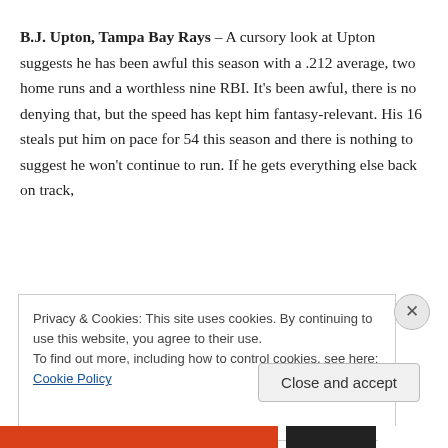B.J. Upton, Tampa Bay Rays – A cursory look at Upton suggests he has been awful this season with a .212 average, two home runs and a worthless nine RBI. It's been awful, there is no denying that, but the speed has kept him fantasy-relevant. His 16 steals put him on pace for 54 this season and there is nothing to suggest he won't continue to run. If he gets everything else back on track,
Privacy & Cookies: This site uses cookies. By continuing to use this website, you agree to their use.
To find out more, including how to control cookies, see here: Cookie Policy
Close and accept